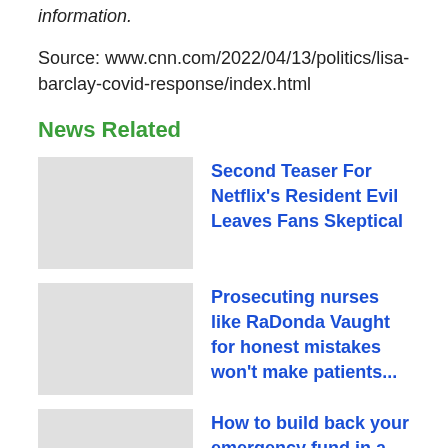This story has been updated with additional information.
Source: www.cnn.com/2022/04/13/politics/lisa-barclay-covid-response/index.html
News Related
[Figure (photo): Thumbnail image placeholder (gray box) for Second Teaser For Netflix's Resident Evil Leaves Fans Skeptical]
Second Teaser For Netflix's Resident Evil Leaves Fans Skeptical
[Figure (photo): Thumbnail image placeholder (gray box) for Prosecuting nurses like RaDonda Vaught for honest mistakes won't make patients...]
Prosecuting nurses like RaDonda Vaught for honest mistakes won't make patients...
[Figure (photo): Thumbnail image placeholder (gray box) for How to build back your emergency fund in a tight budget]
How to build back your emergency fund in a tight budget